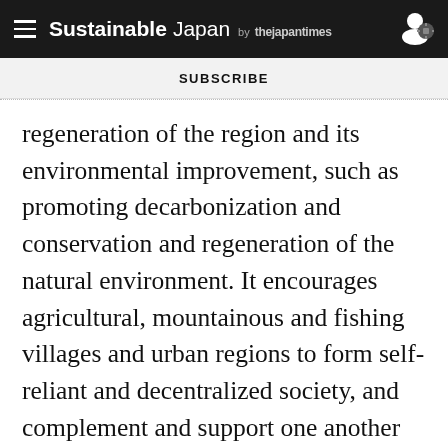Sustainable Japan by the japan times
SUBSCRIBE
regeneration of the region and its environmental improvement, such as promoting decarbonization and conservation and regeneration of the natural environment. It encourages agricultural, mountainous and fishing villages and urban regions to form self-reliant and decentralized society, and complement and support one another by circulating local resources, including nature, physical materials, human resources and funds.